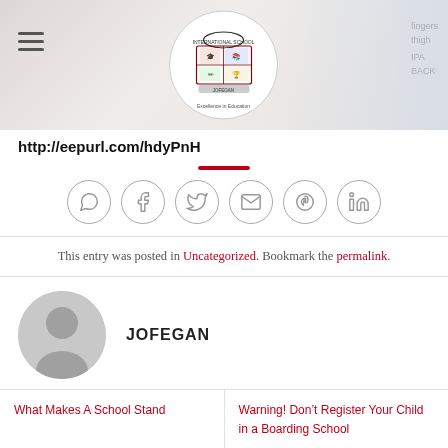[Figure (screenshot): Website header with school logo (crest) centered, hamburger menu icon top-left, and blurred background imagery]
http://eepurl.com/hdyPnH
[Figure (infographic): Row of six social share icon circles: WhatsApp, Facebook, Twitter, Email, Pinterest, LinkedIn]
This entry was posted in Uncategorized. Bookmark the permalink.
[Figure (illustration): Default grey user avatar placeholder circle with person silhouette]
JOFEGAN
What Makes A School Stand
Warning! Don't Register Your Child in a Boarding School